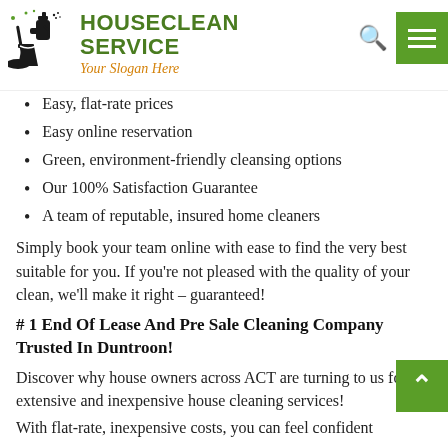[Figure (logo): HouseClean Service logo with cleaning supplies icon, green bold text reading HOUSECLEAN SERVICE, and orange italic slogan 'Your Slogan Here']
Easy, flat-rate prices
Easy online reservation
Green, environment-friendly cleansing options
Our 100% Satisfaction Guarantee
A team of reputable, insured home cleaners
Simply book your team online with ease to find the very best suitable for you. If you're not pleased with the quality of your clean, we'll make it right – guaranteed!
# 1 End Of Lease And Pre Sale Cleaning Company Trusted In Duntroon!
Discover why house owners across ACT are turning to us for extensive and inexpensive house cleaning services!
With flat-rate, inexpensive costs, you can feel confident